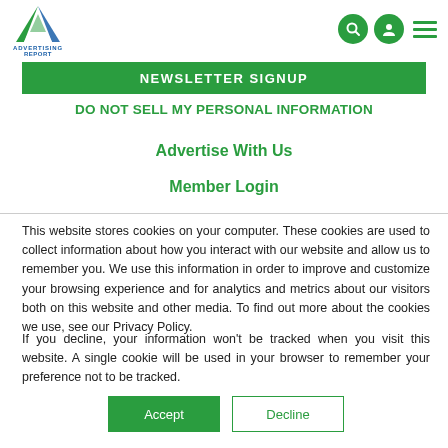[Figure (logo): Advertising Report logo with green/blue triangle arrow mark above text ADVERTISING REPORT]
[Figure (infographic): Navigation icons: search (magnifying glass), user profile, and hamburger menu in green circles]
NEWSLETTER SIGNUP
DO NOT SELL MY PERSONAL INFORMATION
Advertise With Us
Member Login
This website stores cookies on your computer. These cookies are used to collect information about how you interact with our website and allow us to remember you. We use this information in order to improve and customize your browsing experience and for analytics and metrics about our visitors both on this website and other media. To find out more about the cookies we use, see our Privacy Policy.
If you decline, your information won’t be tracked when you visit this website. A single cookie will be used in your browser to remember your preference not to be tracked.
Accept
Decline